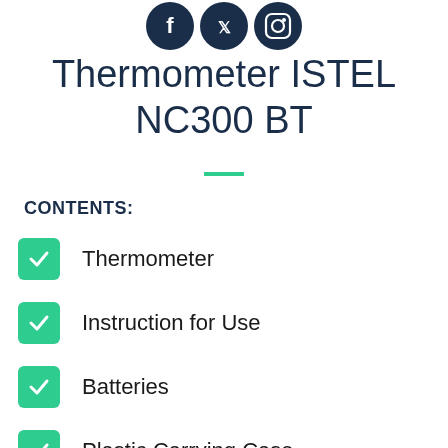[Figure (logo): Three circular social media icons (Facebook, Twitter, Instagram) in dark navy blue at top of page]
Thermometer ISTEL NC300 BT
CONTENTS:
Thermometer
Instruction for Use
Batteries
Plastic Carrying Case